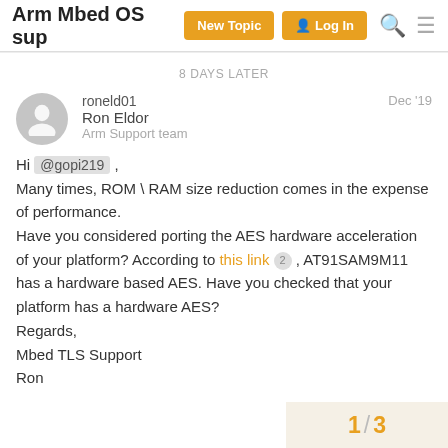Arm Mbed OS sup
8 DAYS LATER
roneld01
Ron Eldor
Arm Support team
Dec '19
Hi @gopi219 ,
Many times, ROM \ RAM size reduction comes in the expense of performance.
Have you considered porting the AES hardware acceleration of your platform? According to this link 2 , AT91SAM9M11 has a hardware based AES. Have you checked that your platform has a hardware AES?
Regards,
Mbed TLS Support
Ron
1 / 3